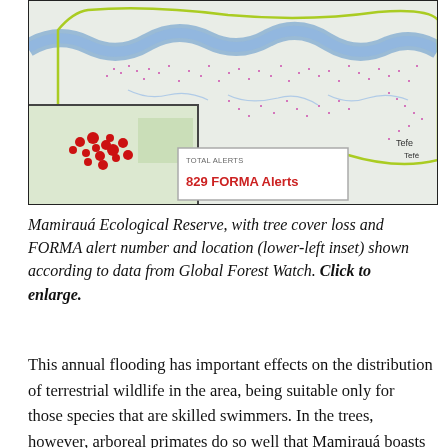[Figure (map): Map of Mamirauá Ecological Reserve showing tree cover loss and FORMA alerts (red dots) with boundary outlined in yellow-green, rivers in blue, and lower-left inset showing alert locations. Total FORMA Alerts: 829.]
Mamirauá Ecological Reserve, with tree cover loss and FORMA alert number and location (lower-left inset) shown according to data from Global Forest Watch. Click to enlarge.
This annual flooding has important effects on the distribution of terrestrial wildlife in the area, being suitable only for those species that are skilled swimmers. In the trees, however, arboreal primates do so well that Mamirauá boasts two endemic